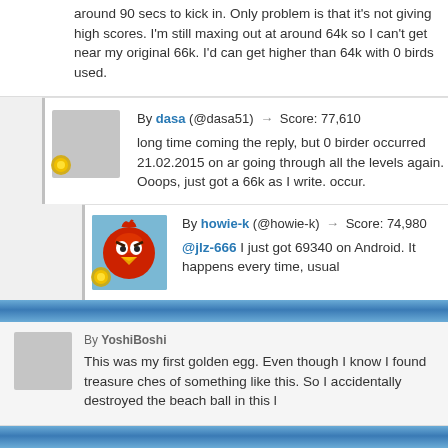around 90 secs to kick in. Only problem is that it's not giving high scores. I'm still maxing out at around 64k so I can't get near my original 66k. I'd can get higher than 64k with 0 birds used.
By dasa (@dasa51) → Score: 77,610
long time coming the reply, but 0 birder occurred 21.02.2015 on ar going through all the levels again. Ooops, just got a 66k as I write. occur.
By howie-k (@howie-k) → Score: 74,980
@jlz-666 I just got 69340 on Android. It happens every time, usual
By YoshiBoshi
This was my first golden egg. Even though I know I found treasure ches of something like this. So I accidentally destroyed the beach ball in this l